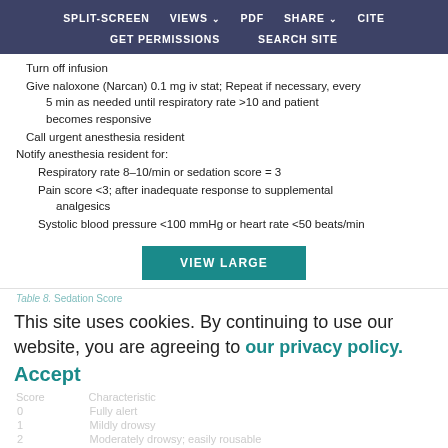SPLIT-SCREEN  VIEWS  PDF  SHARE  CITE  GET PERMISSIONS  SEARCH SITE
Turn off infusion
Give naloxone (Narcan) 0.1 mg iv stat; Repeat if necessary, every 5 min as needed until respiratory rate >10 and patient becomes responsive
Call urgent anesthesia resident
Notify anesthesia resident for:
Respiratory rate 8–10/min or sedation score = 3
Pain score <3; after inadequate response to supplemental analgesics
Systolic blood pressure <100 mmHg or heart rate <50 beats/min
Table 8. Sedation Score
This site uses cookies. By continuing to use our website, you are agreeing to our privacy policy. Accept
| Score | Characteristic |
| --- | --- |
| 0 | Fully alert |
| 1 | Mildly drowsy |
| 2 | Moderately drowsy; easily rousable |